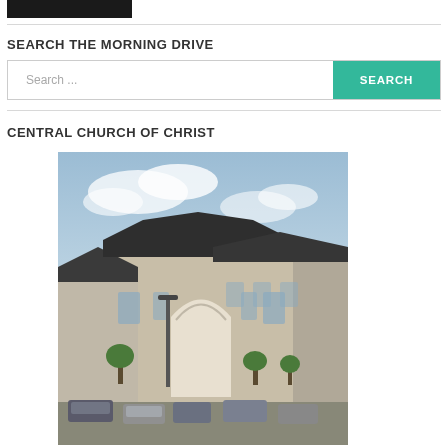[Figure (other): Black navigation bar/logo block at top of page]
SEARCH THE MORNING DRIVE
[Figure (screenshot): Search input box with placeholder 'Search ...' and a teal SEARCH button]
CENTRAL CHURCH OF CHRIST
[Figure (photo): Photograph of the Central Church of Christ building exterior — a large stone church with a prominent arched entrance, dark roof, parking lot with cars and trees in front, under a partly cloudy sky]